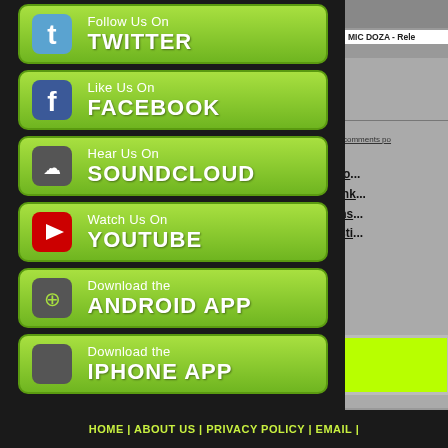[Figure (screenshot): Social media sidebar buttons: Twitter, Facebook, SoundCloud, YouTube, Android App, iPhone App]
MIC DOZA - Rele...
comments po...
Home, Artists, Producers, Dimes, Store, Po... Awards, Showcase, Showcase Audition, Link... Music Tips, Donate, Artist Of The Month, Ins... Advertising, iPhone App, Android App, Testi... Get Interviewed, Subm...
CLICK HERE TO...
HOME | ABOUT US | PRIVACY POLICY | EMAIL |